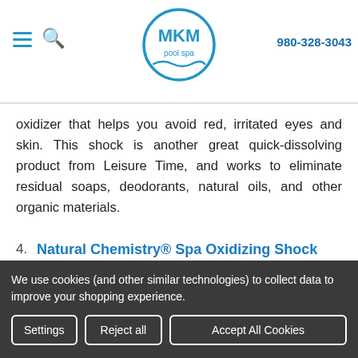MKM pool spa | 980-328-3043
oxidizer that helps you avoid red, irritated eyes and skin. This shock is another great quick-dissolving product from Leisure Time, and works to eliminate residual soaps, deodorants, natural oils, and other organic materials.
4. Natural Chemistry® Spa Oxidizing Shock
Natural Chemistry Spa Oxidizing Shock is among the best spa chemicals known for removing organic materials before they build up in your
We use cookies (and other similar technologies) to collect data to improve your shopping experience.